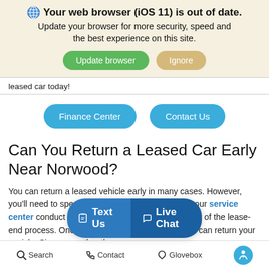🌐 Your web browser (iOS 11) is out of date. Update your browser for more security, speed and the best experience on this site. [Update browser] [Ignore]
leased car today!
Finance Center   Contact Us
Can You Return a Leased Car Early Near Norwood?
You can return a leased vehicle early in many cases. However, you'll need to speak with our dealership and have our service center conduct an inspection of your vehicle as part of the lease-end process. Once the inspection is complete, you can return your vehicle. Sign together the required documents and acc... dealership:
Text Us   Live Chat
Search   Contact   Glovebox